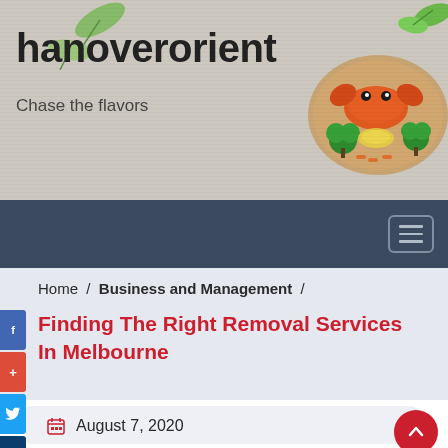hanoverorient
Chase the flavors
[Figure (illustration): Food illustration showing a crab on a wooden plate with vegetables and noodles, with decorative green leaves on left side]
Home  /  Business and Management  /
Finding The Right Removal Services In Melbourne
August 7, 2020